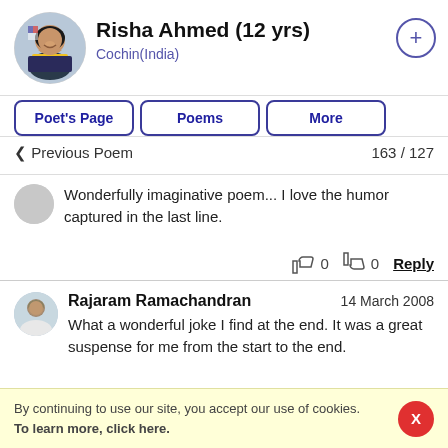[Figure (photo): Profile photo of a young woman smiling, circular crop]
Risha Ahmed (12 yrs)
Cochin(India)
+
Poet's Page
Poems
More
< Previous Poem
163 / 127
Wonderfully imaginative poem... I love the humor captured in the last line.
0
0
Reply
Rajaram Ramachandran
14 March 2008
What a wonderful joke I find at the end. It was a great suspense for me from the start to the end.
By continuing to use our site, you accept our use of cookies. To learn more, click here.